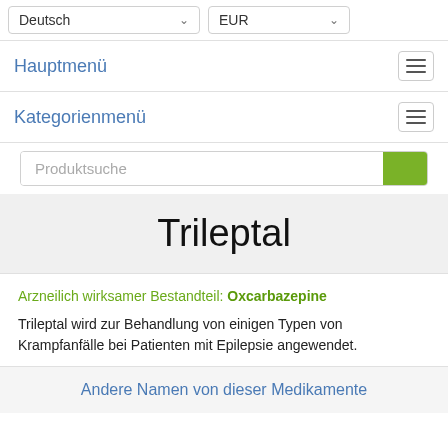Deutsch | EUR
Hauptmenü
Kategorienmenü
Produktsuche
Trileptal
Arzneilich wirksamer Bestandteil: Oxcarbazepine
Trileptal wird zur Behandlung von einigen Typen von Krampfanfälle bei Patienten mit Epilepsie angewendet.
Andere Namen von dieser Medikamente